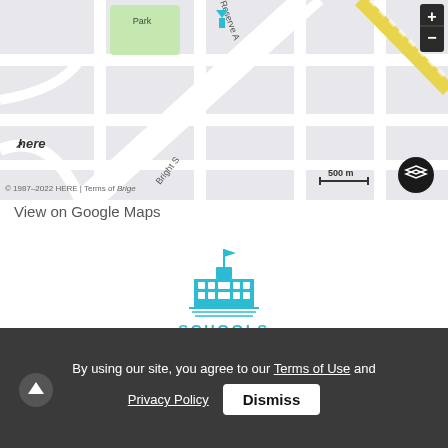[Figure (map): Street map showing local area with roads, park/reserve labels, HERE maps branding, scale bar (500 m), zoom controls, and a cyan location pin marker. Copyright 1987-2022 HERE | Terms of use shown at bottom.]
View on Google Maps
[Figure (illustration): Blue/cyan outline icon of a school building with flag on top, windows, columns, and horizontal lines representing steps at the base. Label: SCHOOLS]
5 public & 1 Catholic schools serve this home. Of these, 2 have catchments. There are 2 private schools nearby.
By using our site, you agree to our Terms of Use and Privacy Policy  Dismiss